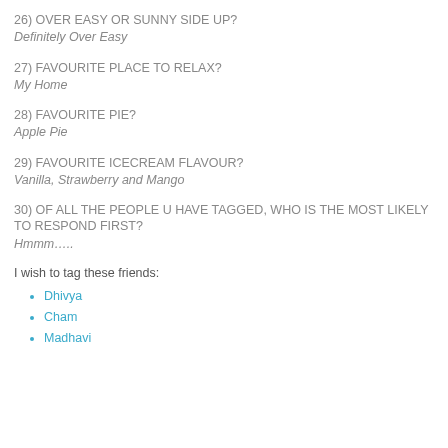26) OVER EASY OR SUNNY SIDE UP?
Definitely Over Easy
27) FAVOURITE PLACE TO RELAX?
My Home
28) FAVOURITE PIE?
Apple Pie
29) FAVOURITE ICECREAM FLAVOUR?
Vanilla, Strawberry and Mango
30) OF ALL THE PEOPLE U HAVE TAGGED, WHO IS THE MOST LIKELY TO RESPOND FIRST?
Hmmm…..
I wish to tag these friends:
Dhivya
Cham
Madhavi